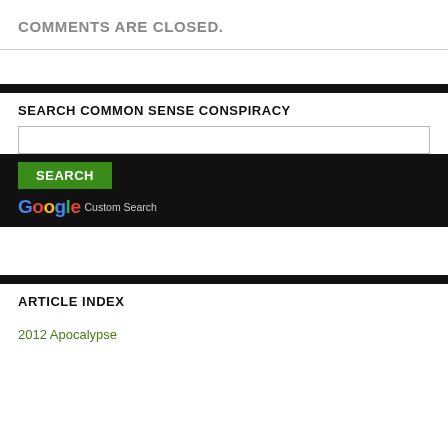COMMENTS ARE CLOSED.
SEARCH COMMON SENSE CONSPIRACY
[Figure (screenshot): Google Custom Search widget with a search input box, a green SEARCH button, and Google Custom Search branding on a black background]
ARTICLE INDEX
2012 Apocalypse